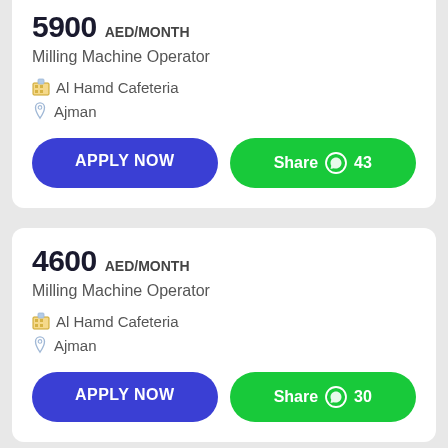5900 AED/month
Milling Machine Operator
Al Hamd Cafeteria
Ajman
APPLY NOW
Share 43
4600 AED/month
Milling Machine Operator
Al Hamd Cafeteria
Ajman
APPLY NOW
Share 30